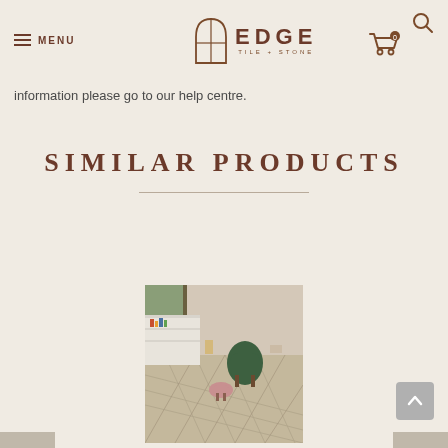MENU | EDGE TILE + STONE
information please go to our help centre.
SIMILAR PRODUCTS
[Figure (photo): Interior room scene showing a geometric patterned tile floor with a green chair, pink ottoman, and white shelving unit]